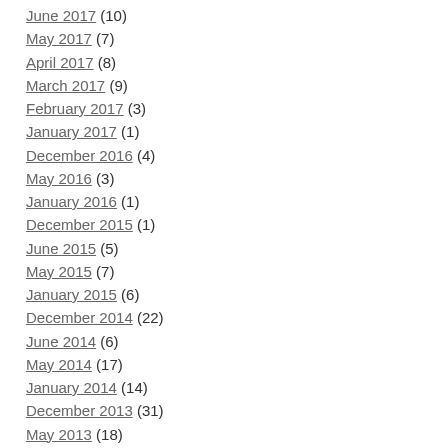June 2017 (10)
May 2017 (7)
April 2017 (8)
March 2017 (9)
February 2017 (3)
January 2017 (1)
December 2016 (4)
May 2016 (3)
January 2016 (1)
December 2015 (1)
June 2015 (5)
May 2015 (7)
January 2015 (6)
December 2014 (22)
June 2014 (6)
May 2014 (17)
January 2014 (14)
December 2013 (31)
May 2013 (18)